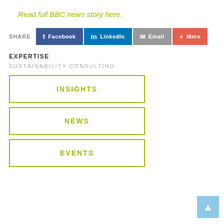Read full BBC news story here.
SHARE  Facebook  LinkedIn  Email  More
EXPERTISE
SUSTAINABILITY CONSULTING
INSIGHTS
NEWS
EVENTS